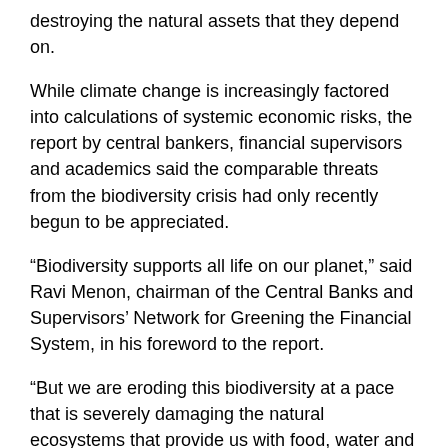destroying the natural assets that they depend on.
While climate change is increasingly factored into calculations of systemic economic risks, the report by central bankers, financial supervisors and academics said the comparable threats from the biodiversity crisis had only recently begun to be appreciated.
“Biodiversity supports all life on our planet,” said Ravi Menon, chairman of the Central Banks and Supervisors’ Network for Greening the Financial System, in his foreword to the report.
“But we are eroding this biodiversity at a pace that is severely damaging the natural ecosystems that provide us with food, water and clean air. This in turn could pose significant risks to economic, financial and social stability.”